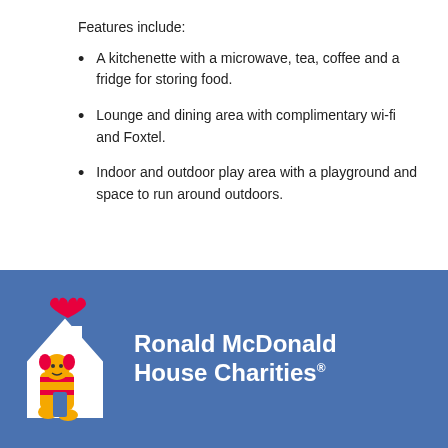Features include:
A kitchenette with a microwave, tea, coffee and a fridge for storing food.
Lounge and dining area with complimentary wi-fi and Foxtel.
Indoor and outdoor play area with a playground and space to run around outdoors.
[Figure (logo): Ronald McDonald House Charities logo with cartoon Ronald McDonald character in front of a house outline with a heart above, on a blue background, with white bold text reading 'Ronald McDonald House Charities']